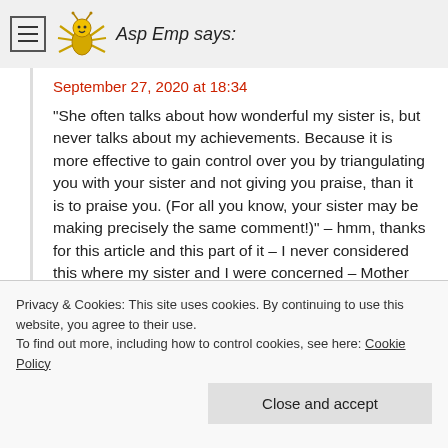Asp Emp says:
September 27, 2020 at 18:34
“She often talks about how wonderful my sister is, but never talks about my achievements. Because it is more effective to gain control over you by triangulating you with your sister and not giving you praise, than it is to praise you. (For all you know, your sister may be making precisely the same comment!)” – hmm, thanks for this article and this part of it – I never considered this where my sister and I were concerned – Mother used the triangulation method but I have never found out whether Mother did say similar things to me and
Privacy & Cookies: This site uses cookies. By continuing to use this website, you agree to their use.
To find out more, including how to control cookies, see here: Cookie Policy
Close and accept